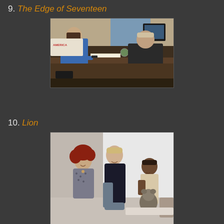9. The Edge of Seventeen
[Figure (photo): Scene from The Edge of Seventeen: a teenage girl in a blue jacket sits across a desk from an older man in a dark shirt in a classroom/office setting]
10. Lion
[Figure (photo): Scene from Lion: a woman with red hair and a tall blonde man crouch down talking to a young dark-skinned boy holding a stuffed animal, in a bright interior space]